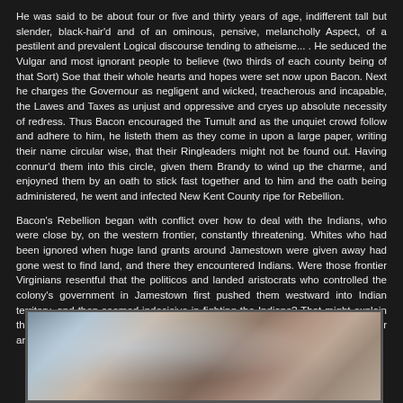He was said to be about four or five and thirty years of age, indifferent tall but slender, black-hair'd and of an ominous, pensive, melancholly Aspect, of a pestilent and prevalent Logical discourse tending to atheisme... . He seduced the Vulgar and most ignorant people to believe (two thirds of each county being of that Sort) Soe that their whole hearts and hopes were set now upon Bacon. Next he charges the Governour as negligent and wicked, treacherous and incapable, the Lawes and Taxes as unjust and oppressive and cryes up absolute necessity of redress. Thus Bacon encouraged the Tumult and as the unquiet crowd follow and adhere to him, he listeth them as they come in upon a large paper, writing their name circular wise, that their Ringleaders might not be found out. Having connur'd them into this circle, given them Brandy to wind up the charme, and enjoyned them by an oath to stick fast together and to him and the oath being administered, he went and infected New Kent County ripe for Rebellion.
Bacon's Rebellion began with conflict over how to deal with the Indians, who were close by, on the western frontier, constantly threatening. Whites who had been ignored when huge land grants around Jamestown were given away had gone west to find land, and there they encountered Indians. Were those frontier Virginians resentful that the politicos and landed aristocrats who controlled the colony's government in Jamestown first pushed them westward into Indian territory, and then seemed indecisive in fighting the Indians? That might explain the character of their rebellion, not easily classifiable as either antiaristocrat or anti-Indian, because it was both.
[Figure (photo): A painting or historical illustration, partially visible at the bottom of the page, showing figures in a scene with muted blue, brown, and warm tones.]